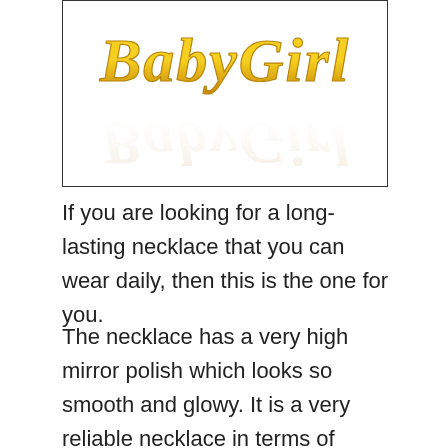[Figure (photo): Product image showing 'BabyGirl' text in gold old-english/gothic style lettering with a reflection below it, on a white background with a black border.]
If you are looking for a long-lasting necklace that you can wear daily, then this is the one for you.
The necklace has a very high mirror polish which looks so smooth and glowy. It is a very reliable necklace in terms of quality so you can leave it on while bathing or while